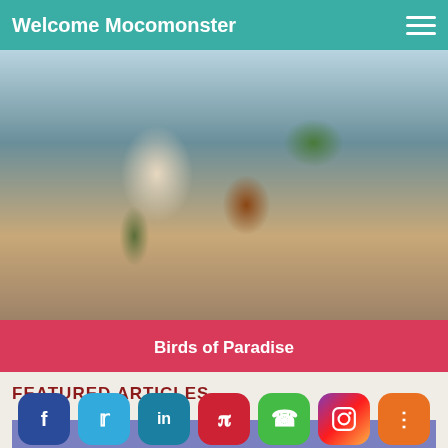Welcome Mocomonster
[Figure (illustration): Illustrated cartoon characters - appears to show monster/creature figures with colorful artistic style]
Birds of Paradise
FEATURED ARTICLES
[Figure (screenshot): Blue/purple card area with social media sharing buttons at bottom: Facebook, Twitter, LinkedIn, Pinterest, WhatsApp, Instagram, Share]